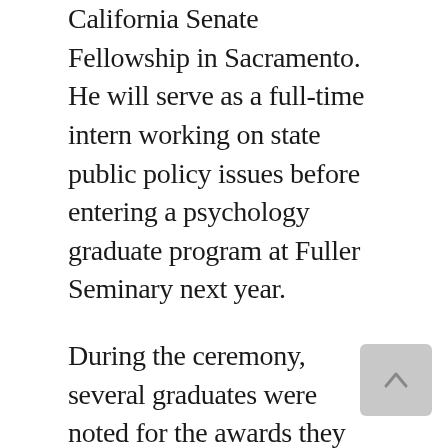California Senate Fellowship in Sacramento. He will serve as a full-time intern working on state public policy issues before entering a psychology graduate program at Fuller Seminary next year.
During the ceremony, several graduates were noted for the awards they received from the alumni association and from the College of Arts and Sciences, the H.M.S. Richards Divinity School, the School of Education, and the Tom and Vi Zapara School of Business.
Pivotal Moments